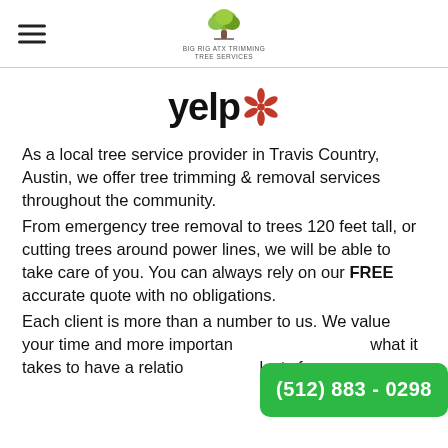Big Rig ATX Trimming Tree Services
[Figure (logo): Yelp logo with red burst/asterisk symbol]
As a local tree service provider in Travis Country, Austin, we offer tree trimming & removal services throughout the community.
From emergency tree removal to trees 120 feet tall, or cutting trees around power lines, we will be able to take care of you. You can always rely on our FREE accurate quote with no obligations.
Each client is more than a number to us. We value your time and more importantly, we understand what it takes to have a relationship that lasts for years.
(512) 883 - 0298